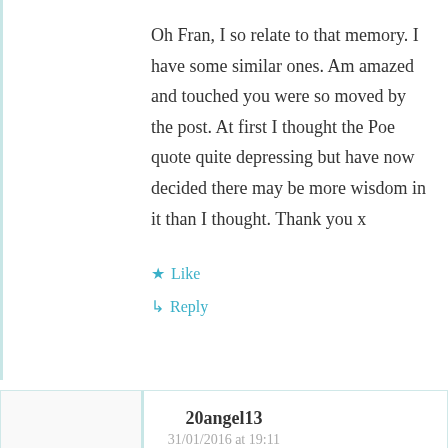Oh Fran, I so relate to that memory. I have some similar ones. Am amazed and touched you were so moved by the post. At first I thought the Poe quote quite depressing but have now decided there may be more wisdom in it than I thought. Thank you x
★ Like
↳ Reply
20angel13
31/01/2016 at 19:11